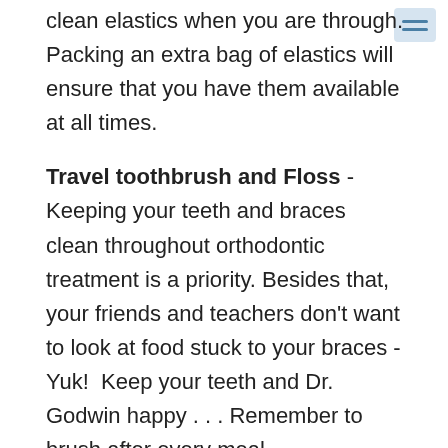clean elastics when you are through. Packing an extra bag of elastics will ensure that you have them available at all times.
Travel toothbrush and Floss - Keeping your teeth and braces clean throughout orthodontic treatment is a priority. Besides that, your friends and teachers don't want to look at food stuck to your braces - Yuk!  Keep your teeth and Dr. Godwin happy . . . Remember to brush after every meal.
Floss Threaders and Interproximal Brushes - Orthodontic appliances can often make flossing and brushing more challenging. Products like floss threaders and proxy brushes can help take